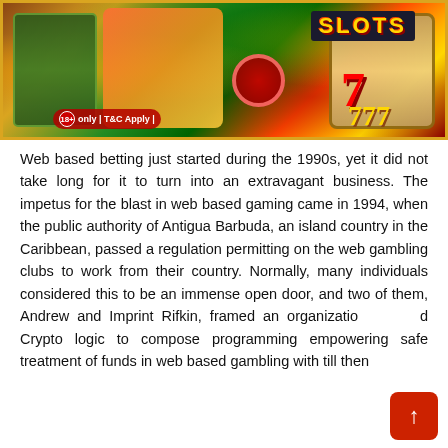[Figure (photo): Casino and online gambling promotional image showing various slot machine games, a red poker chip, 777 slot machine reels with gold finish, and fruit-themed slot games on a dark background. Text overlay reads '18+ only | T&C Apply |' in lower left.]
Web based betting just started during the 1990s, yet it did not take long for it to turn into an extravagant business. The impetus for the blast in web based gaming came in 1994, when the public authority of Antigua Barbuda, an island country in the Caribbean, passed a regulation permitting on the web gambling clubs to work from their country. Normally, many individuals considered this to be an immense open door, and two of them, Andrew and Imprint Rifkin, framed an organization called Crypto logic to compose programming empowering safe treatment of funds in web based gambling with till then